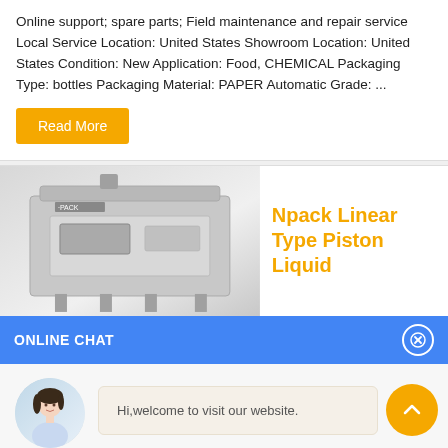Online support; spare parts; Field maintenance and repair service Local Service Location: United States Showroom Location: United States Condition: New Application: Food, CHEMICAL Packaging Type: bottles Packaging Material: PAPER Automatic Grade: ...
Read More
[Figure (photo): Industrial packaging machine (Npack Linear Type Piston Liquid filling machine) with product title text in orange on the right side]
ONLINE CHAT
[Figure (photo): Avatar photo of a woman named Cilina]
Hi,welcome to visit our website.
Cilina